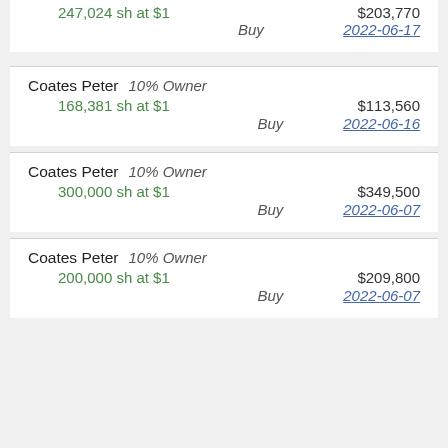247,024 sh at $1   $203,770   Buy   2022-06-17
Coates Peter   10% Owner
168,381 sh at $1   $113,560   Buy   2022-06-16
Coates Peter   10% Owner
300,000 sh at $1   $349,500   Buy   2022-06-07
Coates Peter   10% Owner
200,000 sh at $1   $209,800   Buy   2022-06-07